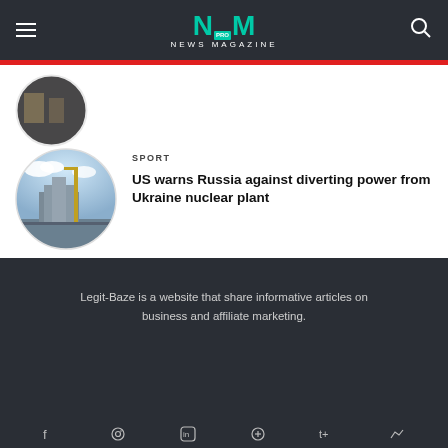NM PRO NEWS MAGAZINE
[Figure (photo): Partially visible circular thumbnail of an article at the top]
SPORT
US warns Russia against diverting power from Ukraine nuclear plant
[Figure (photo): Circular thumbnail of a nuclear power plant with cranes and clouds]
[Figure (illustration): Loading indicator with teal/green tiles in a 3x2 grid pattern]
Load more
Legit-Baze is a website that share informative articles on business and affiliate marketing.